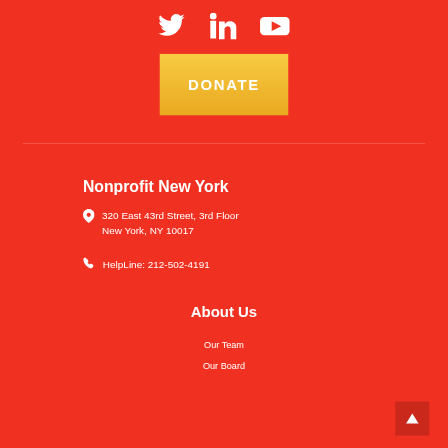[Figure (other): Social media icons: Twitter bird, LinkedIn 'in', YouTube play button — all white on red background]
[Figure (other): Yellow/orange DONATE button]
Nonprofit New York
320 East 43rd Street, 3rd Floor
New York, NY 10017
HelpLine: 212-502-4191
About Us
Our Team
Our Board